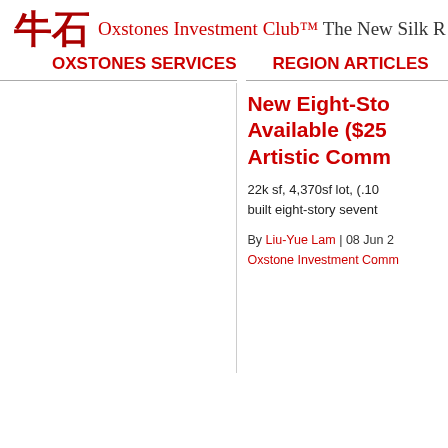牛石 Oxstones Investment Club™ The New Silk R
OXSTONES SERVICES    REGION ARTICLES
New Eight-Sto Available ($25 Artistic Comm
22k sf, 4,370sf lot, (.10 built eight-story sevent
By Liu-Yue Lam | 08 Jun 2 Oxstone Investment Comm